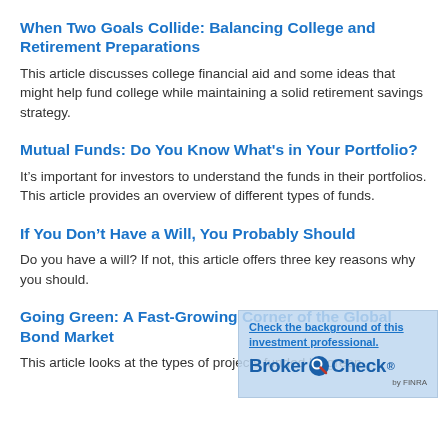When Two Goals Collide: Balancing College and Retirement Preparations
This article discusses college financial aid and some ideas that might help fund college while maintaining a solid retirement savings strategy.
Mutual Funds: Do You Know What's in Your Portfolio?
It's important for investors to understand the funds in their portfolios. This article provides an overview of different types of funds.
If You Don't Have a Will, You Probably Should
Do you have a will? If not, this article offers three key reasons why you should.
Going Green: A Fast-Growing Corner of the Global Bond Market
This article looks at the types of projects funded by green
[Figure (logo): BrokerCheck by FINRA overlay panel with text 'Check the background of this investment professional.' and the BrokerCheck logo with a red magnifying glass icon.]